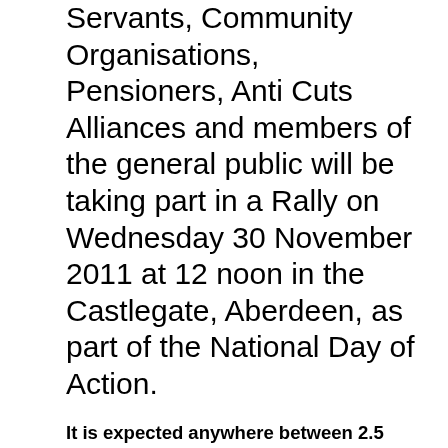Servants, Community Organisations, Pensioners, Anti Cuts Alliances and members of the general public will be taking part in a Rally on Wednesday 30 November 2011 at 12 noon in the Castlegate, Aberdeen, as part of the National Day of Action.
It is expected anywhere between 2.5 and 3 Million Union Members will be striking against the Government's Pension Proposals, as well as in support of public services.
This rally has been organised by the ATUC and is being supported by, as well as by other organisations who support the ATUC.
Consisting of members from Unions such as Unite, Unison, GMB, EIS, will also have representatives from Community Organisations, Pensioners and the public taking part. This event will be the culmination of the National Day with thousands of Union members having taken Strike Action and hundreds manning picket lines from 6am or earlier.